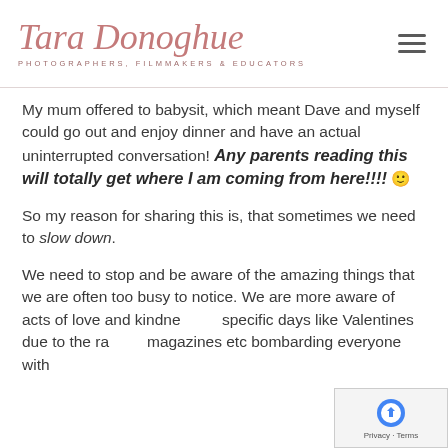Tara Donoghue — PHOTOGRAPHERS, FILMMAKERS & EDUCATORS
My mum offered to babysit, which meant Dave and myself could go out and enjoy dinner and have an actual uninterrupted conversation! Any parents reading this will totally get where I am coming from here!!!! 🙂
So my reason for sharing this is, that sometimes we need to slow down.
We need to stop and be aware of the amazing things that we are often too busy to notice. We are more aware of acts of love and kindness on specific days like Valentines due to the race of magazines etc bombarding everyone with